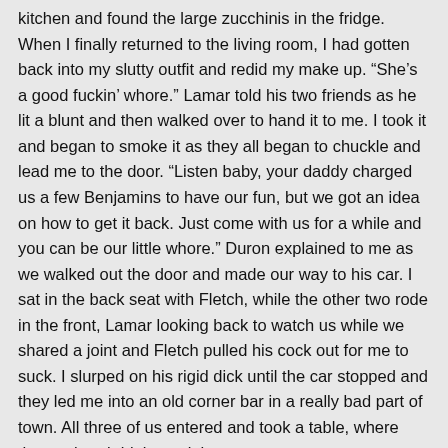kitchen and found the large zucchinis in the fridge. When I finally returned to the living room, I had gotten back into my slutty outfit and redid my make up. “She’s a good fuckin’ whore.” Lamar told his two friends as he lit a blunt and then walked over to hand it to me. I took it and began to smoke it as they all began to chuckle and lead me to the door. “Listen baby, your daddy charged us a few Benjamins to have our fun, but we got an idea on how to get it back. Just come with us for a while and you can be our little whore.” Duron explained to me as we walked out the door and made our way to his car. I sat in the back seat with Fletch, while the other two rode in the front, Lamar looking back to watch us while we shared a joint and Fletch pulled his cock out for me to suck. I slurped on his rigid dick until the car stopped and they led me into an old corner bar in a really bad part of town. All three of us entered and took a table, where they ordered drinks and they gave